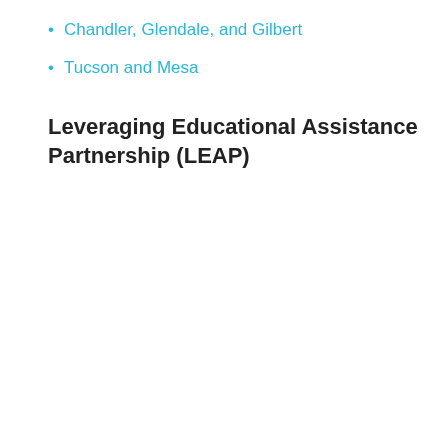Chandler, Glendale, and Gilbert
Tucson and Mesa
Leveraging Educational Assistance Partnership (LEAP)